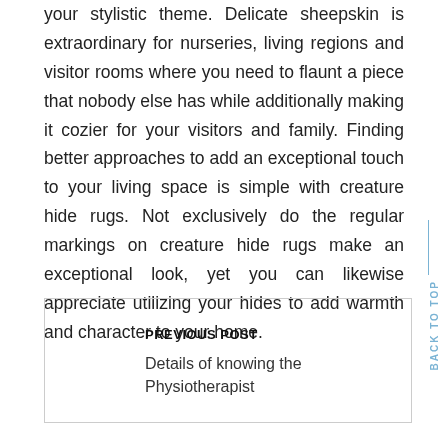your stylistic theme. Delicate sheepskin is extraordinary for nurseries, living regions and visitor rooms where you need to flaunt a piece that nobody else has while additionally making it cozier for your visitors and family. Finding better approaches to add an exceptional touch to your living space is simple with creature hide rugs. Not exclusively do the regular markings on creature hide rugs make an exceptional look, yet you can likewise appreciate utilizing your hides to add warmth and character to your home.
PREVIOUS POST
Details of knowing the Physiotherapist